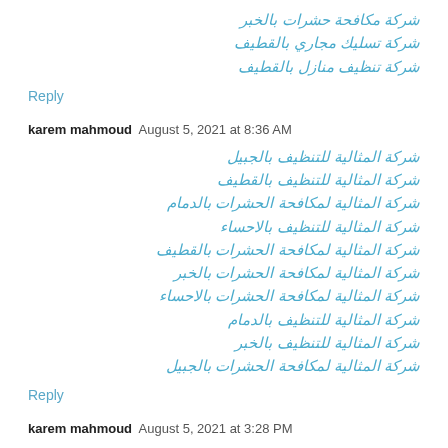شركة مكافحة حشرات بالخبر
شركة تسليك مجاري بالقطيف
شركة تنظيف منازل بالقطيف
Reply
karem mahmoud   August 5, 2021 at 8:36 AM
شركة المثالية للتنظيف بالجبيل
شركة المثالية للتنظيف بالقطيف
شركة المثالية لمكافحة الحشرات بالدمام
شركة المثالية للتنظيف بالاحساء
شركة المثالية لمكافحة الحشرات بالقطيف
شركة المثالية لمكافحة الحشرات بالخبر
شركة المثالية لمكافحة الحشرات بالاحساء
شركة المثالية للتنظيف بالدمام
شركة المثالية للتنظيف بالخبر
شركة المثالية لمكافحة الحشرات بالجبيل
Reply
karem mahmoud   August 5, 2021 at 3:28 PM